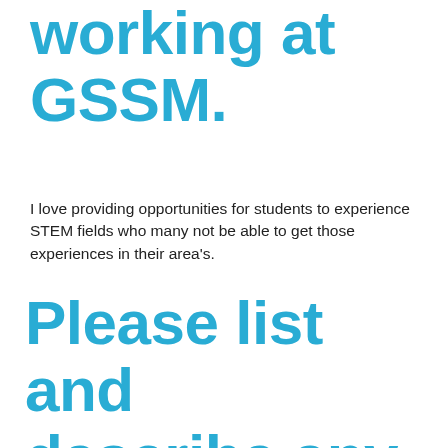working at GSSM.
I love providing opportunities for students to experience STEM fields who many not be able to get those experiences in their area's.
Please list and describe any personal information you